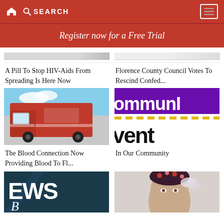SEARCH
Register now for a Free Trial
A Pill To Stop HIV-Aids From Spreading Is Here Now
Florence County Council Votes To Rescind Confed...
[Figure (photo): Red Blood Connection mobile blood donation truck with white and red branding, parked outdoors under blue sky]
[Figure (photo): Community event graphic with purple banner showing 'ommunI' text, yellow dashed line, and large bold text 'vent']
The Blood Connection Now Providing Blood To Fl...
In Our Community
[Figure (photo): Dark teal NEWS magazine cover with cursive letter partially visible]
[Figure (photo): Woman with decorative headpiece and butterfly, close-up portrait]